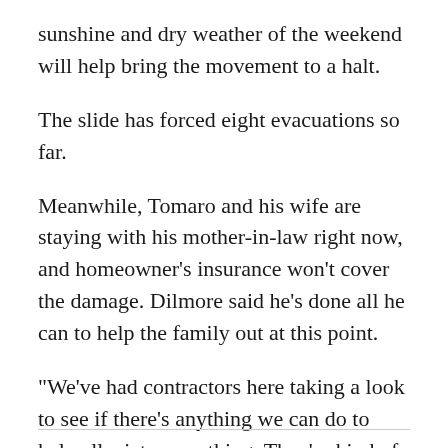sunshine and dry weather of the weekend will help bring the movement to a halt.
The slide has forced eight evacuations so far.
Meanwhile, Tomaro and his wife are staying with his mother-in-law right now, and homeowner's insurance won't cover the damage. Dilmore said he's done all he can to help the family out at this point.
"We've had contractors here taking a look to see if there's anything we can do to help alleviate something. They're kind of afraid to put any equipment or men on it right now. It's very soft," said Dilmore.